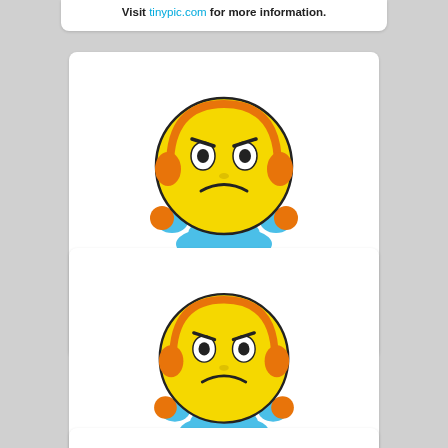This image is no longer available. Visit tinypic.com for more information.
[Figure (illustration): Tinypic placeholder image: frustrated yellow emoji face with orange headphones and blue body/arms, with 'tinypic' logo text below it. Caption reads: This image is no longer available. Visit tinypic.com for more information.]
[Figure (illustration): Tinypic placeholder image (second): same frustrated yellow emoji face with orange headphones and blue body/arms, with 'tinypic' logo text below it. Caption reads: This image is no longer available. Visit tinypic.com for more information.]
[Figure (illustration): Tinypic placeholder image (third, partially visible): top portion of same frustrated yellow emoji face.]